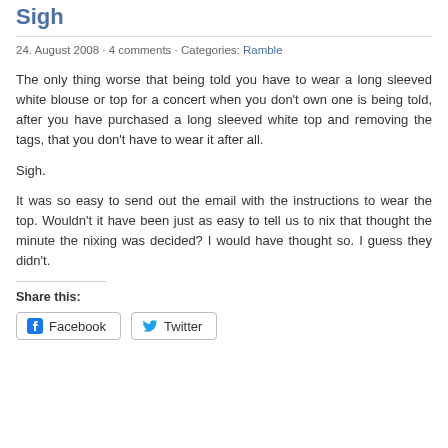Sigh
24. August 2008 · 4 comments · Categories: Ramble
The only thing worse that being told you have to wear a long sleeved white blouse or top for a concert when you don't own one is being told, after you have purchased a long sleeved white top and removing the tags, that you don't have to wear it after all.
Sigh.
It was so easy to send out the email with the instructions to wear the top. Wouldn't it have been just as easy to tell us to nix that thought the minute the nixing was decided? I would have thought so. I guess they didn't.
Share this:
Facebook  Twitter